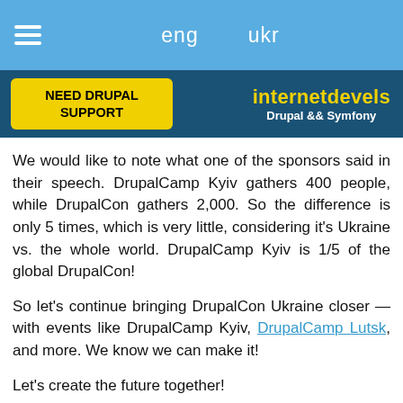eng   ukr
[Figure (logo): NEED DRUPAL SUPPORT yellow button and internetdevels Drupal && Symfony logo on dark blue banner]
We would like to note what one of the sponsors said in their speech. DrupalCamp Kyiv gathers 400 people, while DrupalCon gathers 2,000. So the difference is only 5 times, which is very little, considering it’s Ukraine vs. the whole world. DrupalCamp Kyiv is 1/5 of the global DrupalCon!
So let’s continue bringing DrupalCon Ukraine closer — with events like DrupalCamp Kyiv, DrupalCamp Lutsk, and more. We know we can make it!
Let’s create the future together!